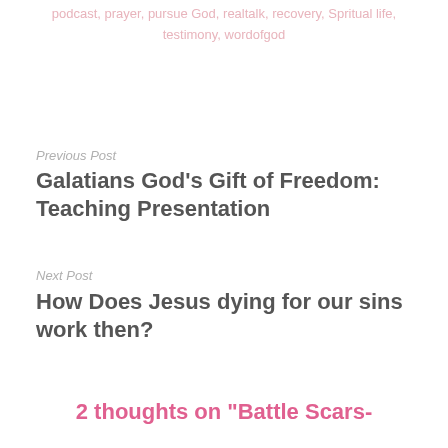podcast, prayer, pursue God, realtalk, recovery, Spritual life, testimony, wordofgod
Previous Post
Galatians God’s Gift of Freedom: Teaching Presentation
Next Post
How Does Jesus dying for our sins work then?
2 thoughts on “Battle Scars-